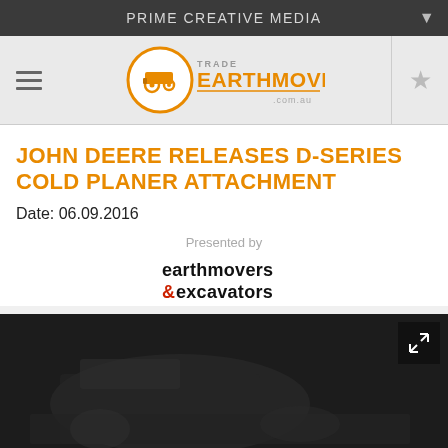PRIME CREATIVE MEDIA
[Figure (logo): Trade Earthmovers logo with orange circle containing machinery icon, orange EARTHMOVERS text, .com.au]
JOHN DEERE RELEASES D-SERIES COLD PLANER ATTACHMENT
Date: 06.09.2016
Presented by
[Figure (logo): earthmovers &excavators logo in black and red text]
[Figure (photo): Dark video thumbnail showing construction equipment, with expand/fullscreen button in top right corner]